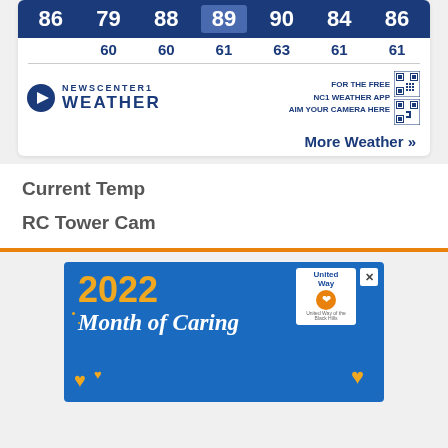| High Temps |  |  |  |  |  |  |
| --- | --- | --- | --- | --- | --- | --- |
| 86 | 79 | 88 | 89 | 90 | 84 | 86 |
|  | 60 | 60 | 61 | 63 | 61 | 61 |
[Figure (logo): NewsCenter1 Weather logo with play button icon]
FOR THE FREE NC1 WEATHER APP AIM YOUR CAMERA HERE
More Weather »
Current Temp
RC Tower Cam
[Figure (infographic): United Way 2022 Month of Caring advertisement banner on blue background with yellow hearts and white script text]